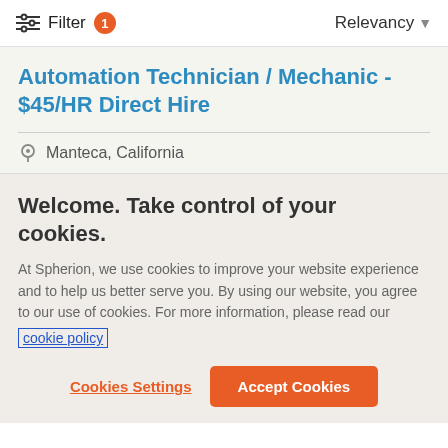Filter 1   Relevancy
Automation Technician / Mechanic - $45/HR Direct Hire
Manteca, California
Welcome. Take control of your cookies.
At Spherion, we use cookies to improve your website experience and to help us better serve you. By using our website, you agree to our use of cookies. For more information, please read our cookie policy
Cookies Settings   Accept Cookies